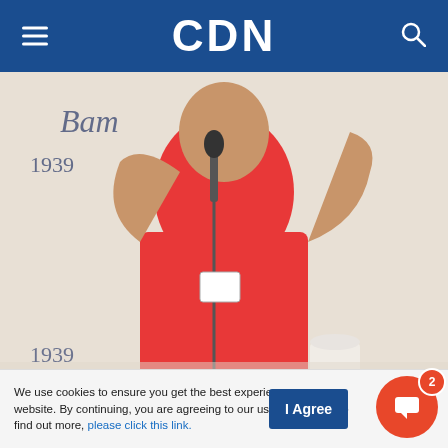CDN
[Figure (photo): Person in red polo shirt speaking into a microphone at what appears to be a café-style press event, with a banner reading 'since 1939' and 'Café' visible in the background.]
Photo Courtesy of Ka Leody De Guzman Facebook Page
MANILA, Philippines — At least two presidential candidates on Monday expressed their take on the concept of unity, which Ferdinand Marcos Jr. has
We use cookies to ensure you get the best experience on our website. By continuing, you are agreeing to our use of cookies. To find out more, please click this link.